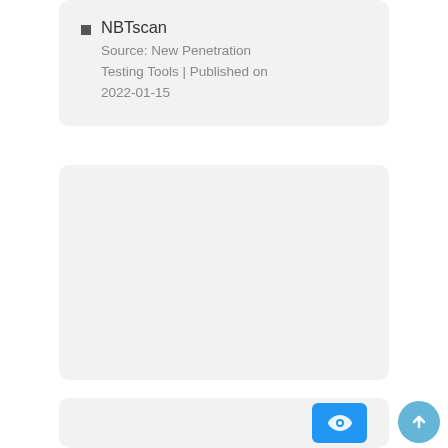NBTscan
Source: New Penetration Testing Tools | Published on 2022-01-15
[Figure (other): Empty light gray card / placeholder box]
[Figure (other): Partial card at bottom with a blue button/element visible]